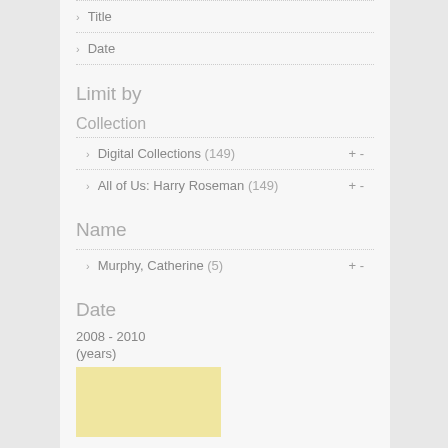Title
Date
Limit by
Collection
Digital Collections (149) + -
All of Us: Harry Roseman (149) + -
Name
Murphy, Catherine (5) + -
Date
2008 - 2010
(years)
[Figure (other): Yellow/tan colored rectangle representing a date range chart or slider element]